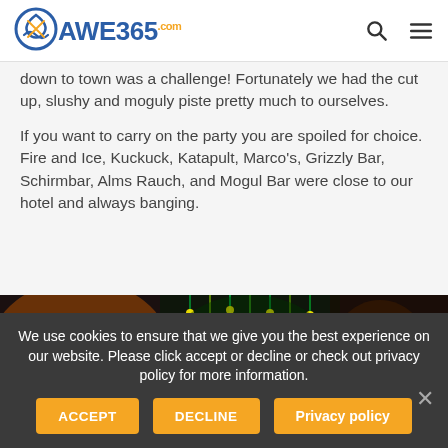AWE365.com
down to town was a challenge! Fortunately we had the cut up, slushy and moguly piste pretty much to ourselves.
If you want to carry on the party you are spoiled for choice. Fire and Ice, Kuckuck, Katapult, Marco's, Grizzly Bar, Schirmbar, Alms Rauch, and Mogul Bar were close to our hotel and always banging.
[Figure (photo): People partying inside a nightclub with green and yellow string lights hanging, crowded dance floor with people in various colored clothing.]
We use cookies to ensure that we give you the best experience on our website. Please click accept or decline or check out privacy policy for more information.